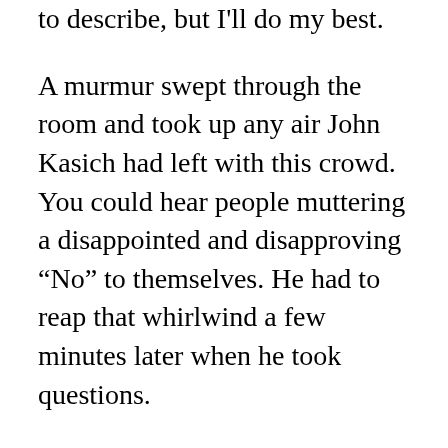to describe, but I'll do my best.
A murmur swept through the room and took up any air John Kasich had left with this crowd. You could hear people muttering a disappointed and disapproving “No” to themselves. He had to reap that whirlwind a few minutes later when he took questions.
A woman in the crowd, who said she was a nurse, took issue with Kasich’s comments about teachers. When he stood behind his belief that teachers are underpaid he got into an argument with the questioner and defended the work of public servants.
“I’ll tell you what I’d love to do,” he stated in an attempt to segue. “I’d take from some of these